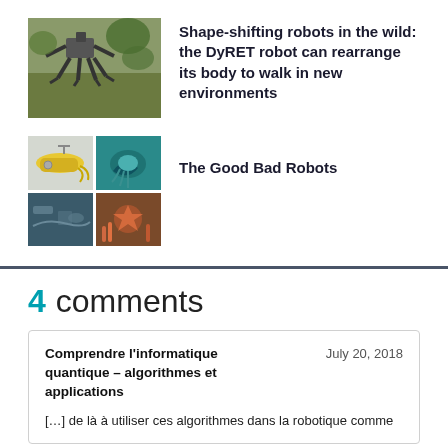[Figure (photo): Photo of DyRET robot walking outdoors on rocky terrain]
Shape-shifting robots in the wild: the DyRET robot can rearrange its body to walk in new environments
[Figure (photo): Four-panel collage: yellow submarine robot, underwater octopus, underwater debris, coral/starfish]
The Good Bad Robots
4 comments
Comprendre l'informatique quantique – algorithmes et applications
July 20, 2018
[…] de là à utiliser ces algorithmes dans la robotique comme